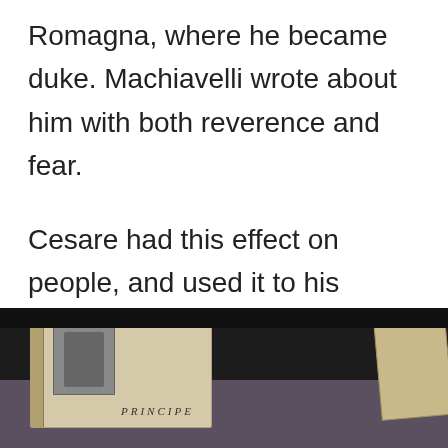Romagna, where he became duke. Machiavelli wrote about him with both reverence and fear.
Cesare had this effect on people, and used it to his advantage—but he was in constant danger of having it backfire on him. Eventually, it would.
[Figure (photo): A photograph of an open historical book displayed in what appears to be a museum case. The book shows a portrait engraving on the left page and the title 'PRINCIPE' (Il Principe / The Prince by Machiavelli) on the right page. A second book is partially visible on the right edge. The background is dark.]